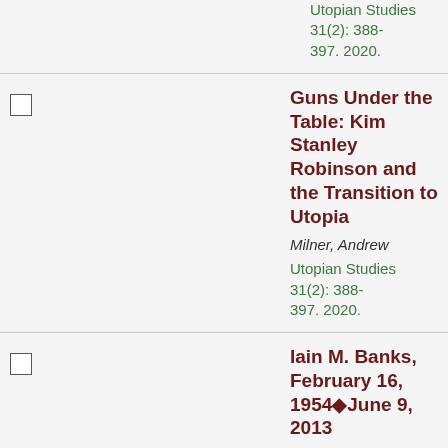Utopian Studies 31(2): 388-397. 2020.
Guns Under the Table: Kim Stanley Robinson and the Transition to Utopia | Milner, Andrew | Utopian Studies 31(2): 388-397. 2020.
Iain M. Banks, February 16, 1954–June 9, 2013 | Milner, Andrew | Utopian Studies 25(1): 260-263. 2014.